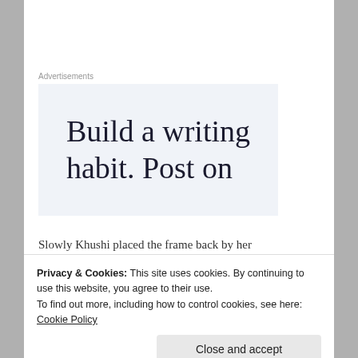Advertisements
[Figure (other): Advertisement banner with light blue background showing text: Build a writing habit. Post on]
Slowly Khushi placed the frame back by her
Privacy & Cookies: This site uses cookies. By continuing to use this website, you agree to their use.
To find out more, including how to control cookies, see here: Cookie Policy
Close and accept